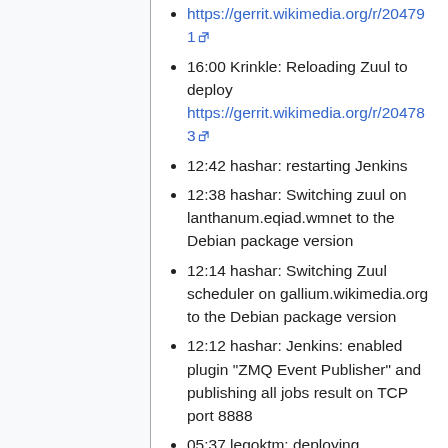https://gerrit.wikimedia.org/r/204791
16:00 Krinkle: Reloading Zuul to deploy https://gerrit.wikimedia.org/r/204783
12:42 hashar: restarting Jenkins
12:38 hashar: Switching zuul on lanthanum.eqiad.wmnet to the Debian package version
12:14 hashar: Switching Zuul scheduler on gallium.wikimedia.org to the Debian package version
12:12 hashar: Jenkins: enabled plugin "ZMQ Event Publisher" and publishing all jobs result on TCP port 8888
05:37 legoktm: deploying https://gerrit.wikimedia.org/r/204700